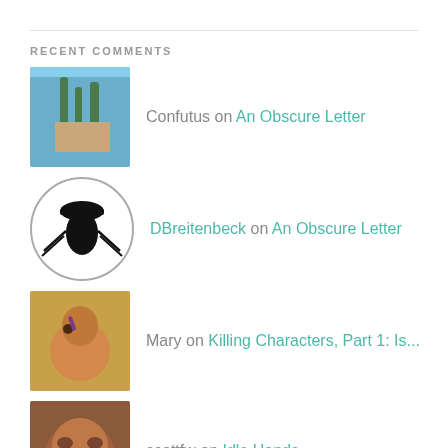RECENT COMMENTS
Confutus on An Obscure Letter
DBreitenbeck on An Obscure Letter
Mary on Killing Characters, Part 1: Is...
scottfw on Idle Hands...
Foxfier on Idle Hands...
ARCHIVES